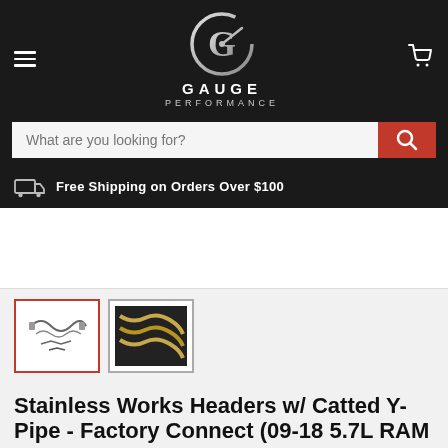[Figure (logo): Gauge Performance logo with circular G emblem in chrome/silver and text GAUGE PERFORMANCE]
What are you looking for?
Free Shipping on Orders Over $100
[Figure (photo): Main product image area (white background, largely empty/cropped)]
[Figure (photo): Thumbnail 1: Stainless Works headers product image on white background (selected, red border)]
[Figure (photo): Thumbnail 2: Stainless Works headers product image showing gold/chrome pipes]
Stainless Works Headers w/ Catted Y-Pipe - Factory Connect (09-18 5.7L RAM